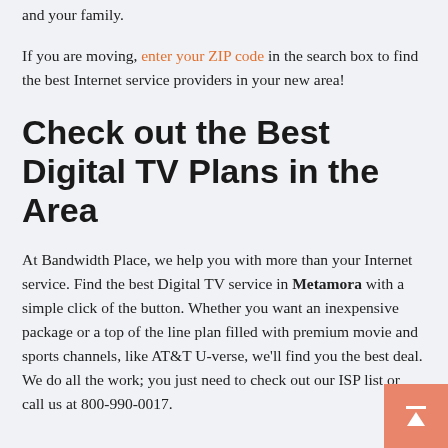and your family.
If you are moving, enter your ZIP code in the search box to find the best Internet service providers in your new area!
Check out the Best Digital TV Plans in the Area
At Bandwidth Place, we help you with more than your Internet service. Find the best Digital TV service in Metamora with a simple click of the button. Whether you want an inexpensive package or a top of the line plan filled with premium movie and sports channels, like AT&T U-verse, we'll find you the best deal. We do all the work; you just need to check out our ISP list or call us at 800-990-0017.